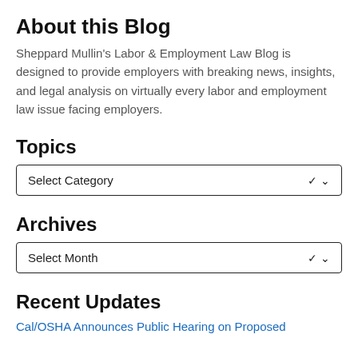About this Blog
Sheppard Mullin's Labor & Employment Law Blog is designed to provide employers with breaking news, insights, and legal analysis on virtually every labor and employment law issue facing employers.
Topics
Select Category
Archives
Select Month
Recent Updates
Cal/OSHA Announces Public Hearing on Proposed